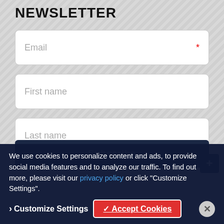NEWSLETTER
Email (required)
First name
Last name
* indicates required field
We use cookies to personalize content and ads, to provide social media features and to analyze our traffic. To find out more, please visit our privacy policy or click "Customize Settings".
Customize Settings
✓ Accept Cookies